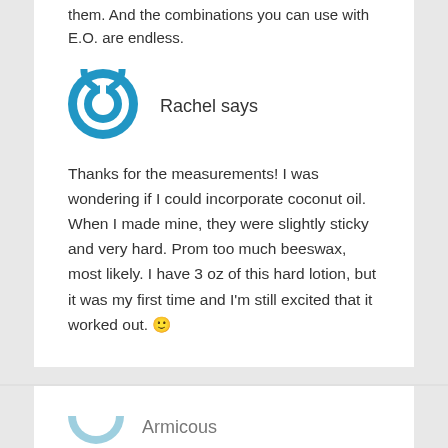them. And the combinations you can use with E.O. are endless.
[Figure (illustration): Blue circular power button icon - avatar for commenter Rachel]
Rachel says
Thanks for the measurements! I was wondering if I could incorporate coconut oil. When I made mine, they were slightly sticky and very hard. Prom too much beeswax, most likely. I have 3 oz of this hard lotion, but it was my first time and I'm still excited that it worked out. 🙂
[Figure (illustration): Blue partial circular avatar icon for next commenter Armicous]